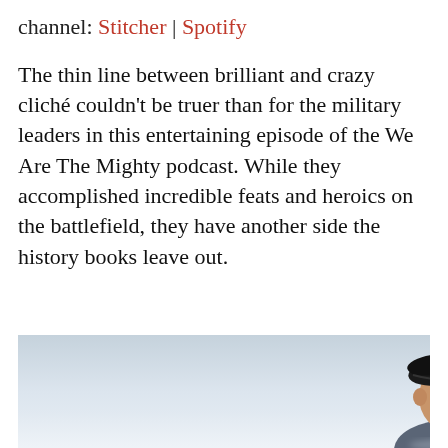channel: Stitcher | Spotify
The thin line between brilliant and crazy cliché couldn't be truer than for the military leaders in this entertaining episode of the We Are The Mighty podcast. While they accomplished incredible feats and heroics on the battlefield, they have another side the history books leave out.
[Figure (photo): A person wearing a black military beret with stars/insignia, photographed from slightly below chin level against a bright blurred background. The bottom portion shows a reflective surface.]